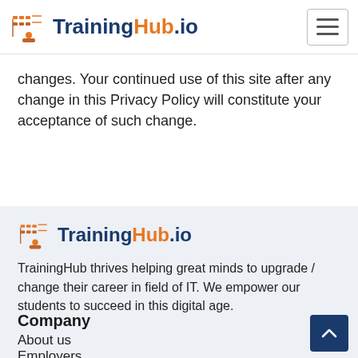TrainingHub.io
changes. Your continued use of this site after any change in this Privacy Policy will constitute your acceptance of such change.
[Figure (logo): TrainingHub.io logo with orange and dark-blue text and a small icon depicting a training/network graphic]
TrainingHub thrives helping great minds to upgrade / change their career in field of IT. We empower our students to succeed in this digital age.
Company
About us
Employers